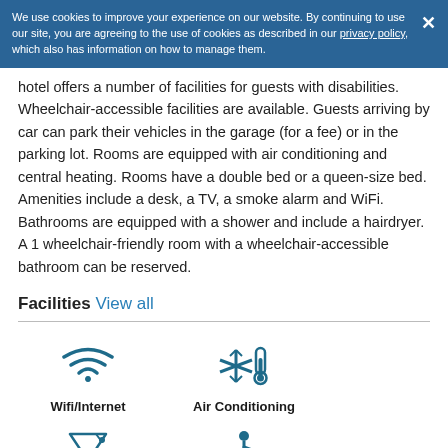We use cookies to improve your experience on our website. By continuing to use our site, you are agreeing to the use of cookies as described in our privacy policy, which also has information on how to manage them.
hotel offers a number of facilities for guests with disabilities. Wheelchair-accessible facilities are available. Guests arriving by car can park their vehicles in the garage (for a fee) or in the parking lot. Rooms are equipped with air conditioning and central heating. Rooms have a double bed or a queen-size bed. Amenities include a desk, a TV, a smoke alarm and WiFi. Bathrooms are equipped with a shower and include a hairdryer. A 1 wheelchair-friendly room with a wheelchair-accessible bathroom can be reserved.
Facilities View all
[Figure (infographic): Three facility icons in a row: Wifi/Internet (WiFi signal icon), Air Conditioning (snowflake with thermometer icon), Bar (cocktail glass icon). Below: two more icons: Disabled Facilities (wheelchair icon), Parking (P in circle icon).]